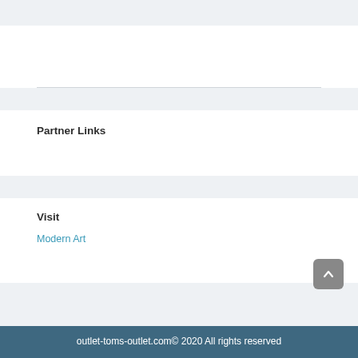Partner Links
Visit
Modern Art
outlet-toms-outlet.com© 2020 All rights reserved